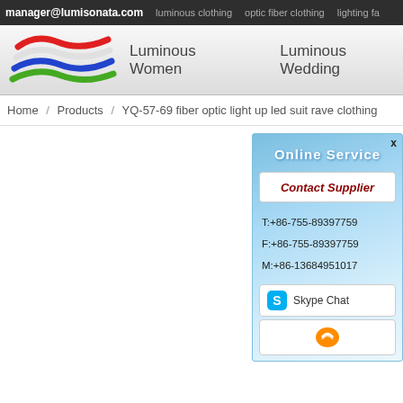manager@lumisonata.com  luminous clothing  optic fiber clothing  lighting fa
[Figure (logo): Lumisonata logo with red, white and blue wave stripes and green wave below]
Luminous Women  Luminous Wedding
Home / Products / YQ-57-69 fiber optic light up led suit rave clothing
Online Service
Contact Supplier
T:+86-755-89397759
F:+86-755-89397759
M:+86-13684951017
Skype Chat